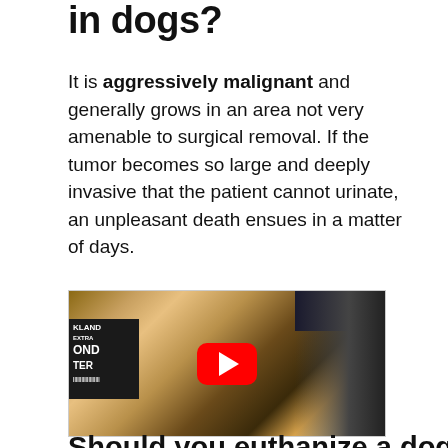in dogs?
It is aggressively malignant and generally grows in an area not very amenable to surgical removal. If the tumor becomes so large and deeply invasive that the patient cannot urinate, an unpleasant death ensues in a matter of days.
[Figure (photo): A YouTube video thumbnail showing a person's hand holding an almond butter jar over a bowl, with kitchen items in the background and a red YouTube play button in the center.]
Should you euthanize a dog